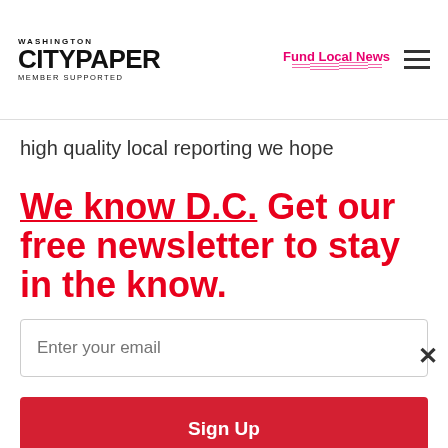WASHINGTON CITYPAPER MEMBER SUPPORTED | Fund Local News
high quality local reporting we hope
We know D.C. Get our free newsletter to stay in the know.
Enter your email
Sign Up
Unsubscribe any time.